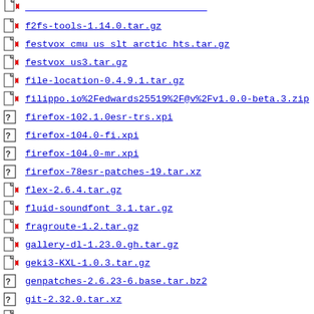f2fs-tools-1.14.0.tar.gz
festvox_cmu_us_slt_arctic_hts.tar.gz
festvox_us3.tar.gz
file-location-0.4.9.1.tar.gz
filippo.io%2Fedwards25519%2F@v%2Fv1.0.0-beta.3.zip
firefox-102.1.0esr-trs.xpi
firefox-104.0-fi.xpi
firefox-104.0-mr.xpi
firefox-78esr-patches-19.tar.xz
flex-2.6.4.tar.gz
fluid-soundfont_3.1.tar.gz
fragroute-1.2.tar.gz
gallery-dl-1.23.0.gh.tar.gz
geki3-KXL-1.0.3.tar.gz
genpatches-2.6.23-6.base.tar.bz2
git-2.32.0.tar.xz
git-sh-1.3.tar.gz